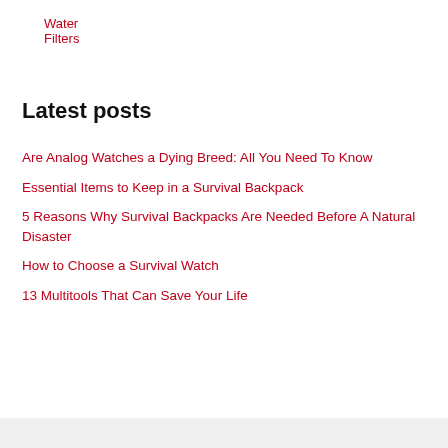Water Filters
Latest posts
Are Analog Watches a Dying Breed: All You Need To Know
Essential Items to Keep in a Survival Backpack
5 Reasons Why Survival Backpacks Are Needed Before A Natural Disaster
How to Choose a Survival Watch
13 Multitools That Can Save Your Life